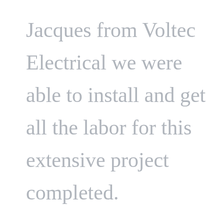Jacques from Voltec Electrical we were able to install and get all the labor for this extensive project completed.
Our contracting team donated their time and equipment to repaint the